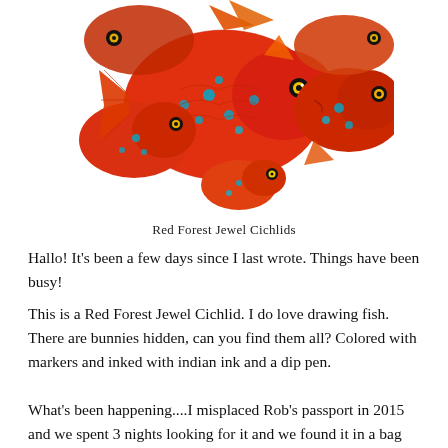[Figure (illustration): Colorful illustration of Red Forest Jewel Cichlids — a group of red, orange, and teal-spotted fish drawn with intricate detail, inked with indian ink and colored with markers.]
Red Forest Jewel Cichlids
Hallo!  It's been a few days since I last wrote.  Things have been busy!
This is a Red Forest Jewel Cichlid.  I do love drawing fish.  There are bunnies hidden, can you find them all?  Colored with markers and inked with indian ink and a dip pen.
What's been happening....I misplaced Rob's passport in 2015 and we spent 3 nights looking for it and we found it in a bag full of old Japanese pamphlets in his study